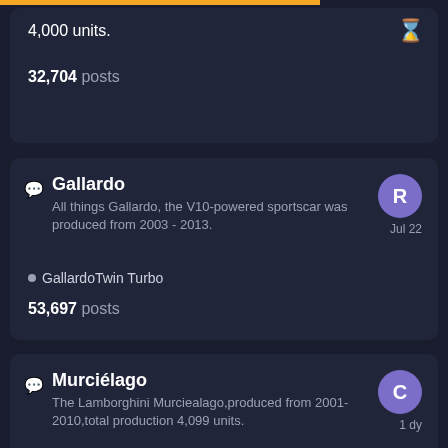4,000 units.
32,704 posts
Gallardo
All things Gallardo, the V10-powered sportscar was produced from 2003 - 2013.
GallardoTwin Turbo
53,697 posts
Murciélago
The Lamborghini Murciealago,produced from 2001-2010,total production 4,099 units.
25,548 posts